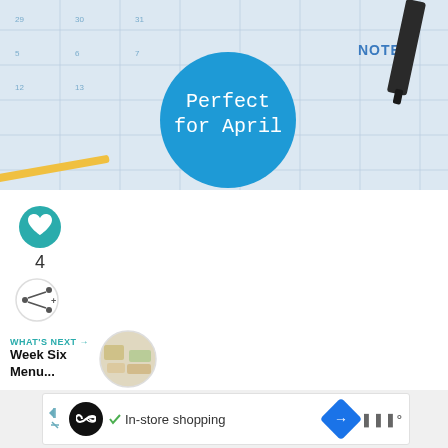[Figure (photo): Calendar background photo with a pen and pencil, with a blue circle badge overlay reading 'Perfect for April' in white handwritten-style font. A 'NOTES' label is visible in the top right corner.]
4
WHAT'S NEXT →
Week Six Menu...
[Figure (screenshot): Advertisement banner with an infinity logo, checkmark, 'In-store shopping' text, a blue diamond direction icon, and brand logo.]